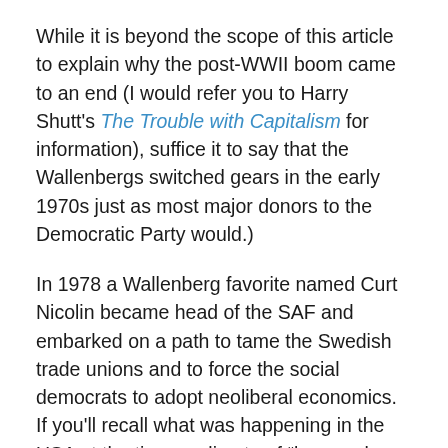While it is beyond the scope of this article to explain why the post-WWII boom came to an end (I would refer you to Harry Shutt's The Trouble with Capitalism for information), suffice it to say that the Wallenbergs switched gears in the early 1970s just as most major donors to the Democratic Party would.)
In 1978 a Wallenberg favorite named Curt Nicolin became head of the SAF and embarked on a path to tame the Swedish trade unions and to force the social democrats to adopt neoliberal economics. If you'll recall what was happening in the USA at the time, a climate of “lean and mean” had begun to set in. Even before Reagan had taken office, President Carter had lectured the American people on the need to tighten their belts. Think tanks on both the liberal left and the right had come to the